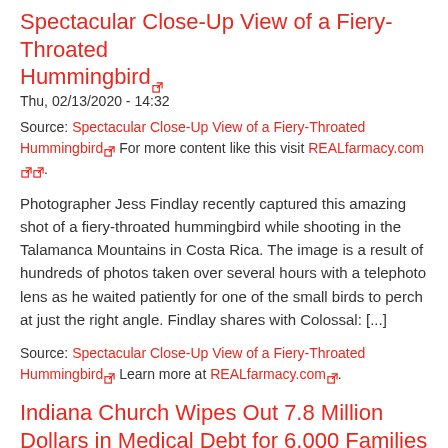Spectacular Close-Up View of a Fiery-Throated Hummingbird
Thu, 02/13/2020 - 14:32
Source: Spectacular Close-Up View of a Fiery-Throated Hummingbird For more content like this visit REALfarmacy.com.
Photographer Jess Findlay recently captured this amazing shot of a fiery-throated hummingbird while shooting in the Talamanca Mountains in Costa Rica. The image is a result of hundreds of photos taken over several hours with a telephoto lens as he waited patiently for one of the small birds to perch at just the right angle. Findlay shares with Colossal: [...]
Source: Spectacular Close-Up View of a Fiery-Throated Hummingbird Learn more at REALfarmacy.com.
Indiana Church Wipes Out 7.8 Million Dollars in Medical Debt for 6,000 Families